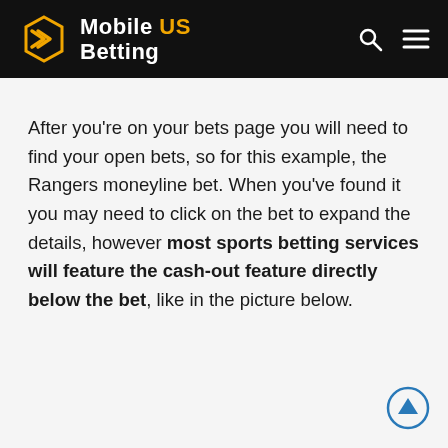Mobile US Betting
After you're on your bets page you will need to find your open bets, so for this example, the Rangers moneyline bet. When you've found it you may need to click on the bet to expand the details, however most sports betting services will feature the cash-out feature directly below the bet, like in the picture below.